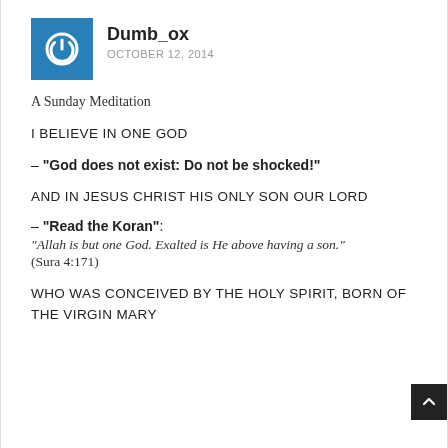Dumb_ox — OCTOBER 12, 2014
A Sunday Meditation
I BELIEVE IN ONE GOD
– "God does not exist: Do not be shocked!"
AND IN JESUS CHRIST HIS ONLY SON OUR LORD
– "Read the Koran": "Allah is but one God. Exalted is He above having a son." (Sura 4:171)
WHO WAS CONCEIVED BY THE HOLY SPIRIT, BORN OF THE VIRGIN MARY